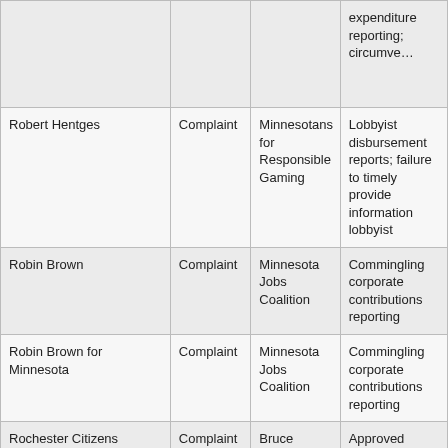| Name | Type | Respondent | Description |
| --- | --- | --- | --- |
|  |  |  | expenditure reporting; circumve… |
| Robert Hentges | Complaint | Minnesotans for Responsible Gaming | Lobbyist disbursement reports; failure to timely provide information lobbyist |
| Robin Brown | Complaint | Minnesota Jobs Coalition | Commingling corporate contributions reporting |
| Robin Brown for Minnesota | Complaint | Minnesota Jobs Coalition | Commingling corporate contributions reporting |
| Rochester Citizens Coalition | Complaint | Bruce Kaskubar | Approved expenditure independent expenditure disclaimer |
| Rochester Marriott Hotel | Staff review |  | Contributions… |